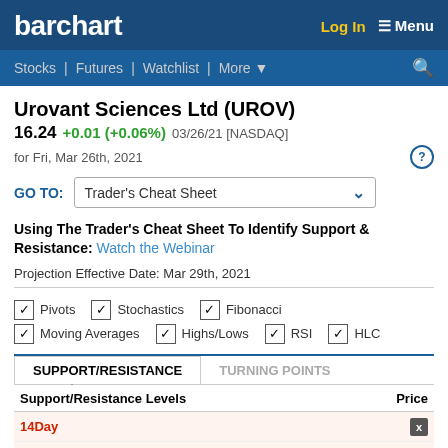barchart | Log In  Menu | Stocks | Futures | Watchlist | More | Search
Urovant Sciences Ltd (UROV)
16.24 +0.01 (+0.06%) 03/26/21 [NASDAQ]
for Fri, Mar 26th, 2021
GO TO: Trader's Cheat Sheet
Using The Trader's Cheat Sheet To Identify Support & Resistance: Watch the Webinar
Projection Effective Date: Mar 29th, 2021
Pivots  Stochastics  Fibonacci  Moving Averages  Highs/Lows  RSI  HLC
SUPPORT/RESISTANCE  TURNING POINTS
| Support/Resistance Levels | Price |
| --- | --- |
| 14Day ... | ...39 |
| 14Day ... | ...29 |